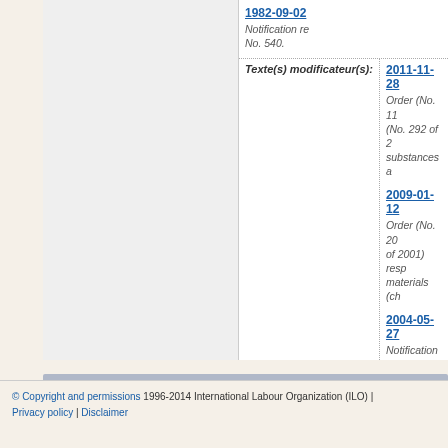1982-09-02
Notification re No. 540.
Texte(s) modificateur(s):
2011-11-28
Order (No. 11 (No. 292 of 2 substances a
2009-01-12
Order (No. 20 of 2001) resp materials (ch
2004-05-27
Notification (N Notification (N with substanc
© Copyright and permissions 1996-2014 International Labour Organization (ILO) | Privacy policy | Disclaimer